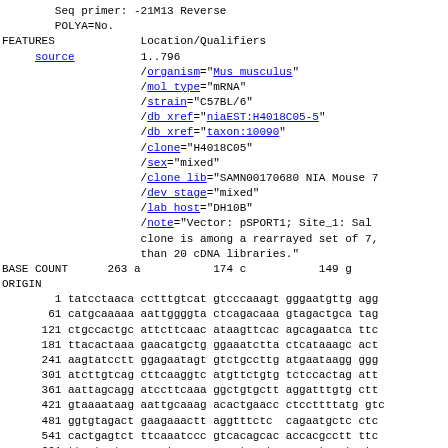Seq primer: -21M13 Reverse
        POLYA=No.
FEATURES             Location/Qualifiers
     source          1..796
                     /organism="Mus musculus"
                     /mol_type="mRNA"
                     /strain="C57BL/6"
                     /db_xref="niaEST:H4018C05-5"
                     /db_xref="taxon:10090"
                     /clone="H4018C05"
                     /sex="mixed"
                     /clone_lib="SAMN00170680 NIA Mouse 7"
                     /dev_stage="mixed"
                     /lab_host="DH10B"
                     /note="Vector: pSPORT1; Site_1: Sal
                     clone is among a rearrayed set of 7,
                     than 20 cDNA libraries."
BASE COUNT      263 a           174 c           149 g
ORIGIN
1 tatcctaaca cctttgtcat gtcccaaagt gggaatgttg agg
       61 catgcaaaaa aattggggta ctcagacaaa gtagactgca tag
      121 ctgccactgc attcttcaac ataagttcac agcagaatca ttc
      181 ttacactaaa gaacatgctg ggaaatctta ctcataaagc act
      241 aagtatcctt ggagaatagt gtctgccttg atgaataagg ggg
      301 atcttgtcag cttcaaggtc atgttctgtg tctccactag att
      361 aattagcagg atccttcaaa ggctgtgctt aggatttgtg ctt
      421 gtaaaataag aattgcaaag acactgaacc ctccttttatg gtc
      481 ggtgtagact gaagaaactt aggtttctc cagaatgctc ctc
      541 cactgagtct ttcaaatccc gtcacagcac accacgcctt ttc
      601 ttcctcctca aaggtcccaa aggctggatg aaacatgcct cta